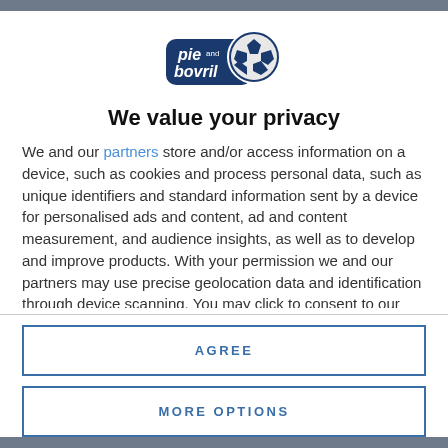[Figure (logo): Pie and Bovril logo with football/soccer ball graphic]
We value your privacy
We and our partners store and/or access information on a device, such as cookies and process personal data, such as unique identifiers and standard information sent by a device for personalised ads and content, ad and content measurement, and audience insights, as well as to develop and improve products. With your permission we and our partners may use precise geolocation data and identification through device scanning. You may click to consent to our and our partners' processing as described above. Alternatively you may access more detailed information and change your preferences before consenting...
AGREE
MORE OPTIONS